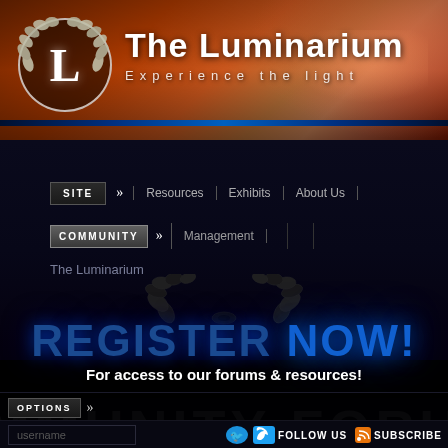[Figure (screenshot): The Luminarium website header with orange/red gradient background, circular logo with L and laurel wreath, site title and tagline]
The Luminarium
Experience the light
Illuminate VII
SITE | Resources | Exhibits | About Us
COMMUNITY | Management
The Luminarium
REGISTER NOW!
For access to our forums & resources!
COMMUNITY FORUMS
OPTIONS
username
FOLLOW US
SUBSCRIBE